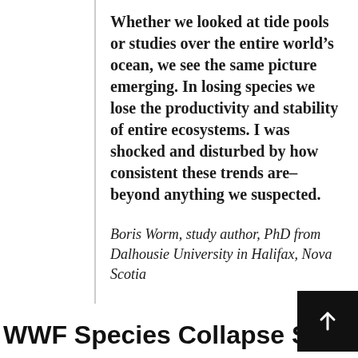Whether we looked at tide pools or studies over the entire world's ocean, we see the same picture emerging. In losing species we lose the productivity and stability of entire ecosystems. I was shocked and disturbed by how consistent these trends are–beyond anything we suspected.
Boris Worm, study author, PhD from Dalhousie University in Halifax, Nova Scotia
WWF Species Collapse Study